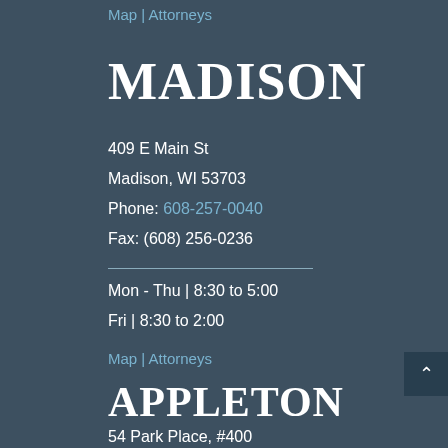Map | Attorneys
MADISON
409 E Main St
Madison, WI 53703
Phone: 608-257-0040
Fax: (608) 256-0236
Mon - Thu | 8:30 to 5:00
Fri | 8:30 to 2:00
Map | Attorneys
APPLETON
54 Park Place, #400
Appleton, WI 54914